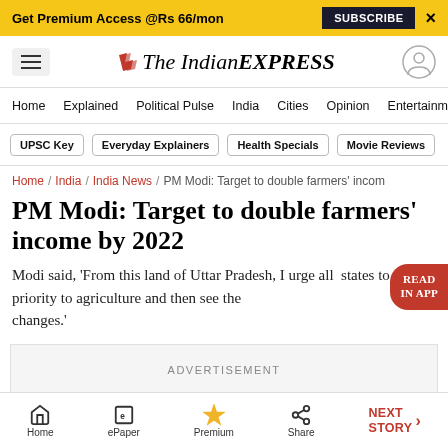Get Premium Access @Rs 66/mon  SUBSCRIBE  X
The Indian EXPRESS
Home / Explained / Political Pulse / India / Cities / Opinion / Entertainment
UPSC Key  Everyday Explainers  Health Specials  Movie Reviews
Home / India / India News / PM Modi: Target to double farmers' income
PM Modi: Target to double farmers' income by 2022
Modi said, 'From this land of Uttar Pradesh, I urge all states to give priority to agriculture and then see the changes.'
ADVERTISEMENT
Home  ePaper  Premium  Share  NEXT STORY